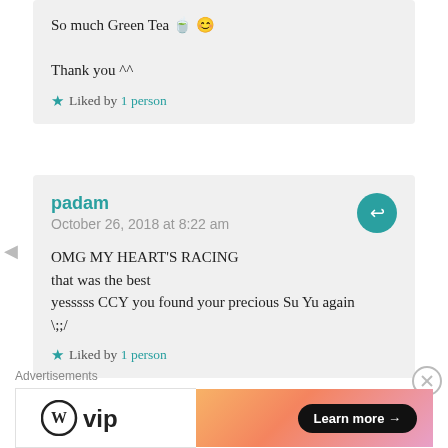So much Green Tea 🍵 😊

Thank you ^^
★ Liked by 1 person
padam
October 26, 2018 at 8:22 am
OMG MY HEART'S RACING
that was the best
yesssss CCY you found your precious Su Yu again
\;;/
★ Liked by 1 person
Advertisements